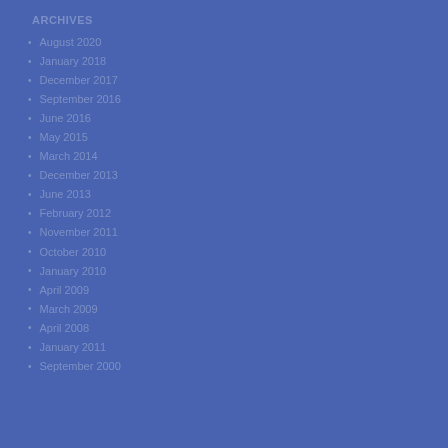ARCHIVES
August 2020
January 2018
December 2017
September 2016
June 2016
May 2015
March 2014
December 2013
June 2013
February 2012
November 2011
October 2010
January 2010
April 2009
March 2009
April 2008
January 2011
September 2000